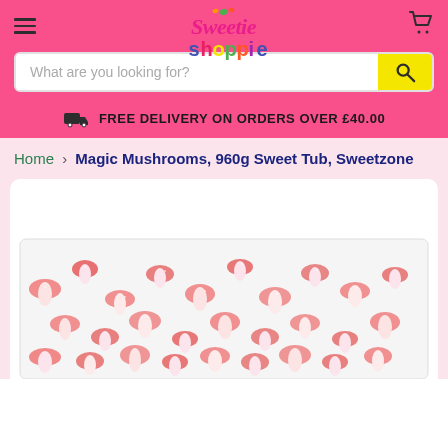[Figure (logo): Sweetie Shoppie logo in colorful text on pink background]
What are you looking for?
FREE DELIVERY ON ORDERS OVER £40.00
Home > Magic Mushrooms, 960g Sweet Tub, Sweetzone
[Figure (photo): A clear tub filled with pink and white sugary magic mushroom shaped gummy sweets]